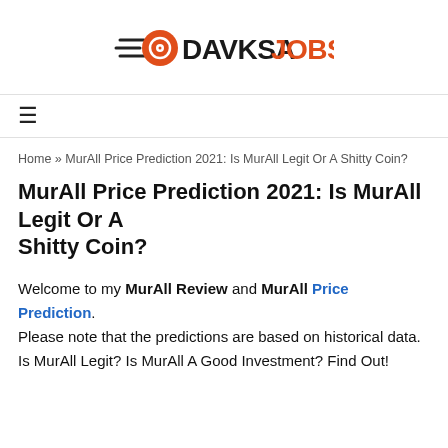[Figure (logo): DAVKSA JOBS logo with orange rocket/camera icon and text 'DAVKSA' in dark and 'JOBS' in orange]
≡
Home » MurAll Price Prediction 2021: Is MurAll Legit Or A Shitty Coin?
MurAll Price Prediction 2021: Is MurAll Legit Or A Shitty Coin?
Welcome to my MurAll Review and MurAll Price Prediction. Please note that the predictions are based on historical data. Is MurAll Legit? Is MurAll A Good Investment? Find Out!